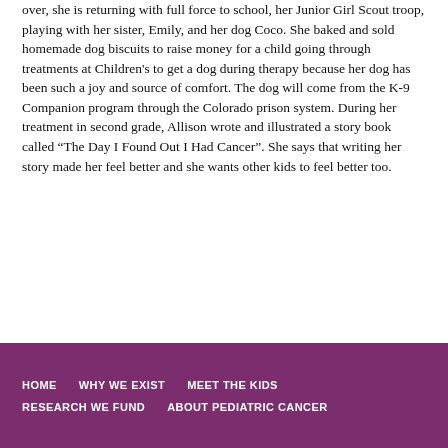over, she is returning with full force to school, her Junior Girl Scout troop, playing with her sister, Emily, and her dog Coco. She baked and sold homemade dog biscuits to raise money for a child going through treatments at Children's to get a dog during therapy because her dog has been such a joy and source of comfort. The dog will come from the K-9 Companion program through the Colorado prison system. During her treatment in second grade, Allison wrote and illustrated a story book called “The Day I Found Out I Had Cancer”. She says that writing her story made her feel better and she wants other kids to feel better too.
HOME   WHY WE EXIST   MEET THE KIDS   RESEARCH WE FUND   ABOUT PEDIATRIC CANCER